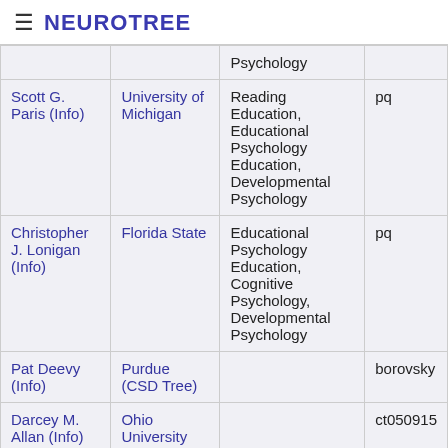≡ NEUROTREE
| Name | Institution | Field | Code |
| --- | --- | --- | --- |
|  |  | Psychology |  |
| Scott G. Paris (Info) | University of Michigan | Reading Education, Educational Psychology Education, Developmental Psychology | pq |
| Christopher J. Lonigan (Info) | Florida State | Educational Psychology Education, Cognitive Psychology, Developmental Psychology | pq |
| Pat Deevy (Info) | Purdue (CSD Tree) |  | borovsky |
| Darcey M. Allan (Info) | Ohio University |  | ct050915 |